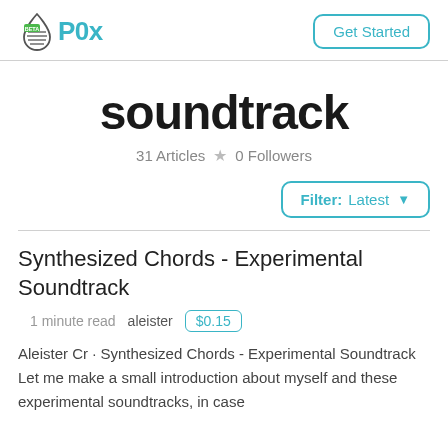P0x | Get Started
soundtrack
31 Articles ★ 0 Followers
Filter: Latest
Synthesized Chords - Experimental Soundtrack
1 minute read   aleister   $0.15
Aleister Cr · Synthesized Chords - Experimental Soundtrack   Let me make a small introduction about myself and these experimental soundtracks, in case